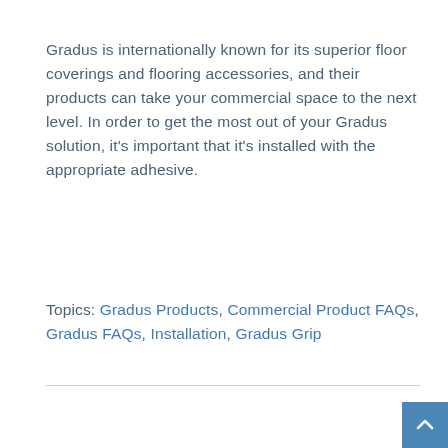Gradus is internationally known for its superior floor coverings and flooring accessories, and their products can take your commercial space to the next level. In order to get the most out of your Gradus solution, it's important that it's installed with the appropriate adhesive.
Read More
Topics: Gradus Products, Commercial Product FAQs, Gradus FAQs, Installation, Gradus Grip